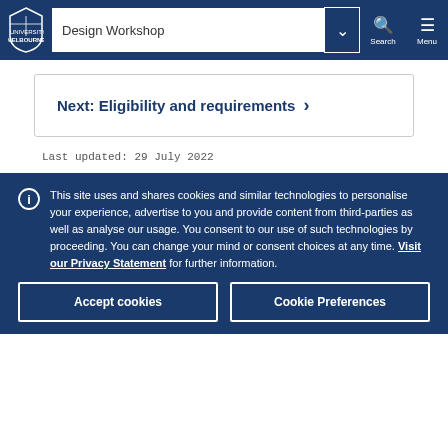Design Workshop — University of Melbourne navigation bar with Search and Menu
Next: Eligibility and requirements >
Last updated: 29 July 2022
This site uses and shares cookies and similar technologies to personalise your experience, advertise to you and provide content from third-parties as well as analyse our usage. You consent to our use of such technologies by proceeding. You can change your mind or consent choices at any time. Visit our Privacy Statement for further information.
Accept cookies
Cookie Preferences